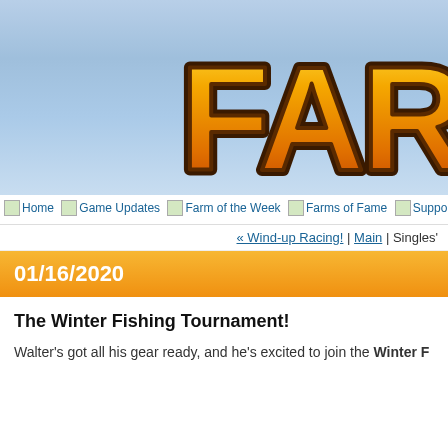[Figure (logo): Farm game logo with large orange and brown stylized text reading 'FARM' partially visible, on a light blue sky gradient background]
Home | Game Updates | Farm of the Week | Farms of Fame | Suppo...
« Wind-up Racing! | Main | Singles'...
01/16/2020
The Winter Fishing Tournament!
Walter's got all his gear ready, and he's excited to join the Winter F...